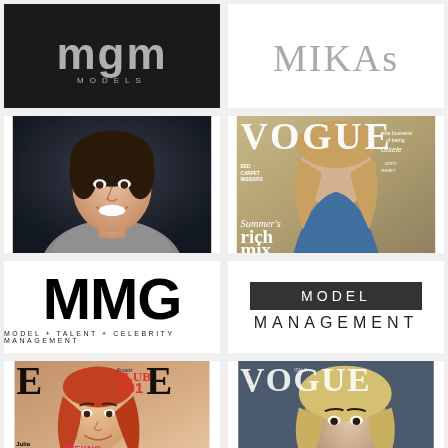[Figure (logo): MGM Models logo — white stylized letters 'mgm' with 'MODELS' beneath on black background]
[Figure (logo): MIKAs logo in gray serif text on white background]
[Figure (photo): Headshot of a smiling dark-haired man in a gray sweater against dark background]
[Figure (photo): Vogue magazine cover featuring a blonde woman with text 'Summer's rich mix', 'the business of being Gisele', 'BED CARPET INSIDERS', 'BODY RESET']
[Figure (logo): MMG Model + Talent + Celebrity Management logo — large black bold letters MMG with tagline below]
[Figure (logo): Model Management logo — 'MODEL' in white on dark bar above 'MANAGEMENT' in spaced letters]
[Figure (photo): ELLE magazine cover featuring a redhead woman, with text 'Julia Banas', 'Projekt CLUB 101', 'PIEKNO Z INSTAGRAMA']
[Figure (photo): Vogue magazine cover featuring a blonde woman in dark moody tones]